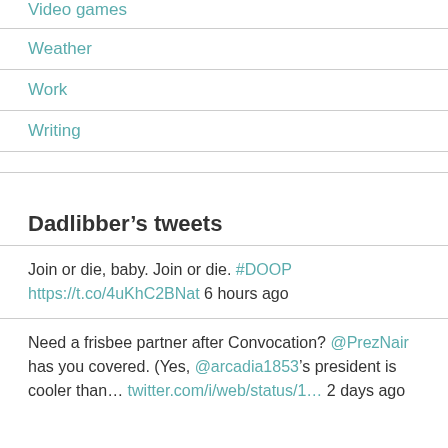Video games
Weather
Work
Writing
Dadlibber’s tweets
Join or die, baby. Join or die. #DOOP https://t.co/4uKhC2BNat 6 hours ago
Need a frisbee partner after Convocation? @PrezNair has you covered. (Yes, @arcadia1853’s president is cooler than… twitter.com/i/web/status/1… 2 days ago